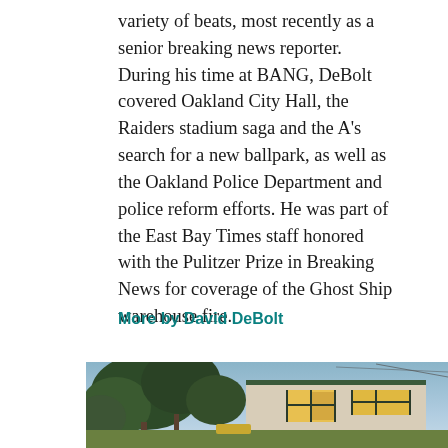variety of beats, most recently as a senior breaking news reporter. During his time at BANG, DeBolt covered Oakland City Hall, the Raiders stadium saga and the A's search for a new ballpark, as well as the Oakland Police Department and police reform efforts. He was part of the East Bay Times staff honored with the Pulitzer Prize in Breaking News for coverage of the Ghost Ship warehouse fire.
More by David DeBolt
[Figure (photo): Exterior photo of a modern house at dusk/evening with warm interior lights glowing through large windows, surrounded by trees and greenery. The house has a flat roof and light-colored walls with dark window frames.]